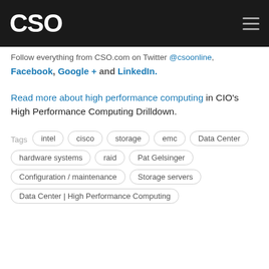CSO
Follow everything from CSO.com on Twitter @csoonline, Facebook, Google + and LinkedIn.
Read more about high performance computing in CIO's High Performance Computing Drilldown.
Tags: intel, cisco, storage, emc, Data Center, hardware systems, raid, Pat Gelsinger, Configuration / maintenance, Storage servers, Data Center | High Performance Computing